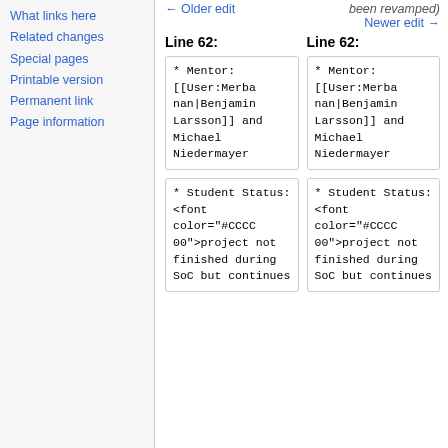What links here
Related changes
Special pages
Printable version
Permanent link
Page information
← Older edit
been revamped)
Newer edit →
Line 62:
Line 62:
* Mentor: [[User:Merbanan|Benjamin Larsson]] and Michael Niedermayer
* Mentor: [[User:Merbanan|Benjamin Larsson]] and Michael Niedermayer
* Student Status: <font color="#CCCC00">project not finished during SoC but continues
* Student Status: <font color="#CCCC00">project not finished during SoC but continues